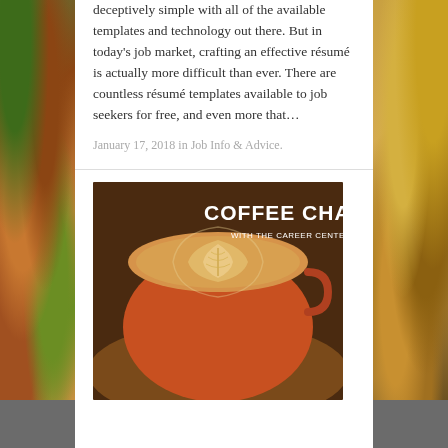deceptively simple with all of the available templates and technology out there. But in today’s job market, crafting an effective résumé is actually more difficult than ever. There are countless résumé templates available to job seekers for free, and even more that…
January 17, 2018 in Job Info & Advice.
[Figure (photo): Photo of a latte art coffee cup with text overlay reading 'COFFEE CHATS WITH THE CAREER CENTER']
Coffee Chats with the Career Center
Planning to be on campus over Half Block? Why not